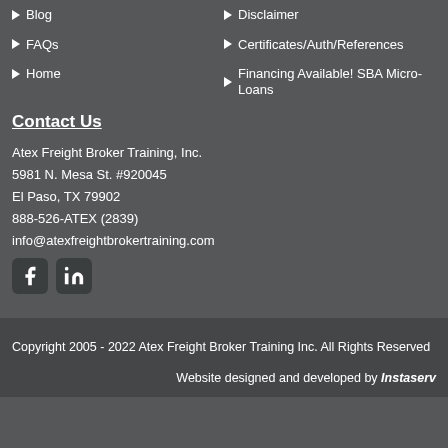Blog
Disclaimer
FAQs
Certificates/Auth/References
Home
Financing Available! SBA Micro-Loans
Contact Us
Atex Freight Broker Training, Inc.
5981 N. Mesa St. #920045
El Paso, TX 79902
888-526-ATEX (2839)
info@atexfreightbrokertraining.com
[Figure (illustration): Facebook and LinkedIn social media icons]
Copyright 2005 - 2022 Atex Freight Broker Training Inc. All Rights Reserved
Website designed and developed by Instaserv